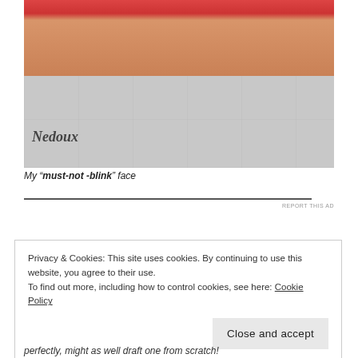[Figure (photo): Close-up photo of legs wearing black high heel pumps, standing on white floor tiles. Person is wearing a red dress/skirt. Watermark text 'Nedoux' in cursive at bottom left.]
My "must-not -blink" face
REPORT THIS AD
Privacy & Cookies: This site uses cookies. By continuing to use this website, you agree to their use.
To find out more, including how to control cookies, see here: Cookie Policy
Close and accept
perfectly, might as well draft one from scratch!